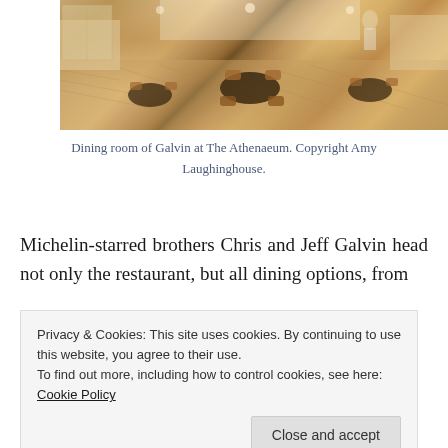[Figure (photo): Interior of the dining room at Galvin at The Athenaeum restaurant, showing tables, chairs, and warm wooden floors]
Dining room of Galvin at The Athenaeum. Copyright Amy Laughinghouse.
Michelin-starred brothers Chris and Jeff Galvin head not only the restaurant, but all dining options, from
Privacy & Cookies: This site uses cookies. By continuing to use this website, you agree to their use.
To find out more, including how to control cookies, see here: Cookie Policy
frigidly, running program steeped in a business direction to the hotel's dining options.